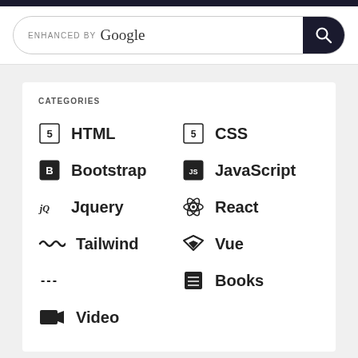[Figure (screenshot): Search bar with 'ENHANCED BY Google' text and search button]
CATEGORIES
HTML
CSS
Bootstrap
JavaScript
Jquery
React
Tailwind
Vue
---
Books
Video